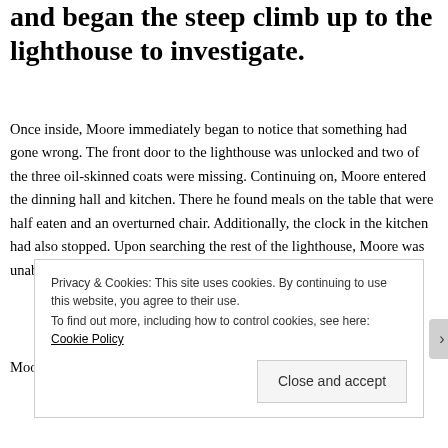and began the steep climb up to the lighthouse to investigate.
Once inside, Moore immediately began to notice that something had gone wrong. The front door to the lighthouse was unlocked and two of the three oil-skinned coats were missing. Continuing on, Moore entered the dinning hall and kitchen. There he found meals on the table that were half eaten and an overturned chair. Additionally, the clock in the kitchen had also stopped. Upon searching the rest of the lighthouse, Moore was unable to find any trace of the three lighthouse keepers.
Moore returned to Captain Harvey who then launched a
Privacy & Cookies: This site uses cookies. By continuing to use this website, you agree to their use.
To find out more, including how to control cookies, see here: Cookie Policy